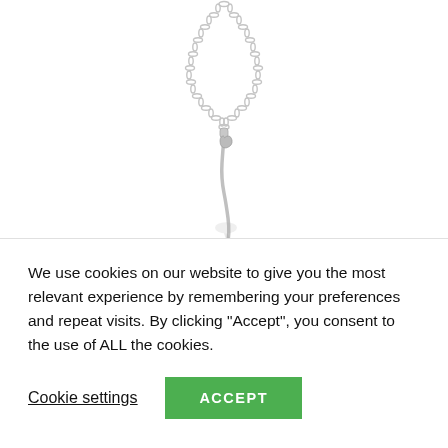[Figure (photo): Product photo of a silver guitar-shaped pendant necklace with chain, shown against white background with a faint reflection below the pendant.]
Guitar pendant necklace
We use cookies on our website to give you the most relevant experience by remembering your preferences and repeat visits. By clicking "Accept", you consent to the use of ALL the cookies.
Cookie settings | ACCEPT